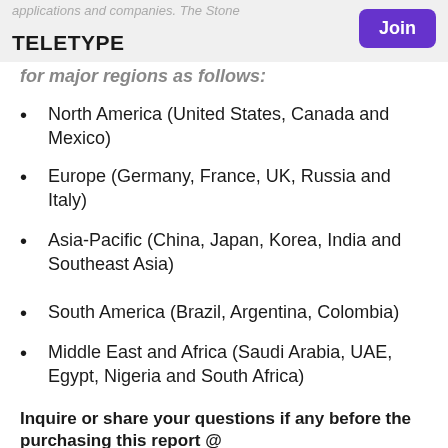applications and companies. The Stone teletype for major regions as follows:
North America (United States, Canada and Mexico)
Europe (Germany, France, UK, Russia and Italy)
Asia-Pacific (China, Japan, Korea, India and Southeast Asia)
South America (Brazil, Argentina, Colombia)
Middle East and Africa (Saudi Arabia, UAE, Egypt, Nigeria and South Africa)
Inquire or share your questions if any before the purchasing this report @ https://www.absolutereports.com/enquiry/pre-order-enquiry/15104133